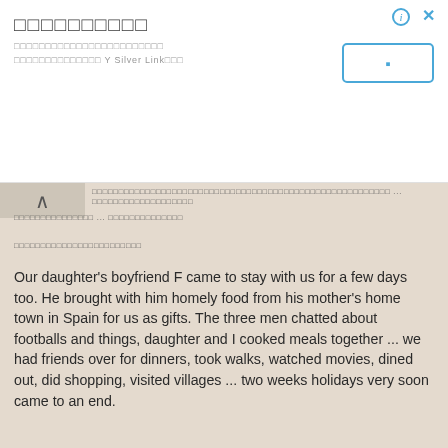□□□□□□□□□□□□□□□□□□□□□□□□□□□□□□□□□□ Y Silver Link□□□
□□□□□□□□□□□□□□□□□□□□□□□□□□□□□□□□□□□□□□□□□□□□□□□□□□□□□□□□□□□□□□□□□□□□ ... □□□□□□□□□□□□□□□□□□□ □□□□□□□□□□□□□□ ... □□□□□□□□□□□□□□
□□□□□□□□□□□□□□□□□□□□□□□□
Our daughter's boyfriend F came to stay with us for a few days too. He brought with him homely food from his mother's home town in Spain for us as gifts. The three men chatted about footballs and things, daughter and I cooked meals together ... we had friends over for dinners, took walks, watched movies, dined out, did shopping, visited villages ... two weeks holidays very soon came to an end.
Our son has already gone back to Manchester and yesterday we drove daughter and F back to London.
[Figure (photo): Photo strip showing food items including herbs or vegetables]